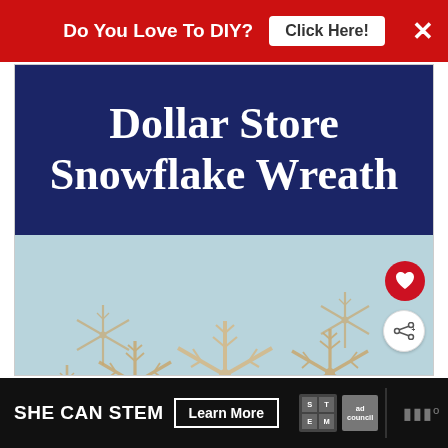Do You Love To DIY?  Click Here!  ×
Dollar Store Snowflake Wreath
[Figure (photo): Multiple decorative wooden or paper snowflakes arranged on a light blue background, forming a wreath-like arc shape. Snowflakes are beige/tan colored with intricate cut patterns.]
WHAT'S NEXT → Splatter Screen Fall...
SHE CAN STEM  Learn More